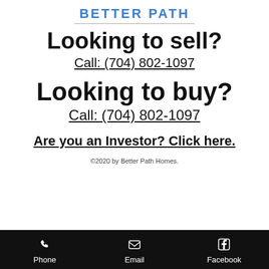BETTER PATH
Looking to sell?
Call: (704) 802-1097
Looking to buy?
Call: (704) 802-1097
Are you an Investor? Click here.
©2020 by Better Path Homes.
Phone | Email | Facebook